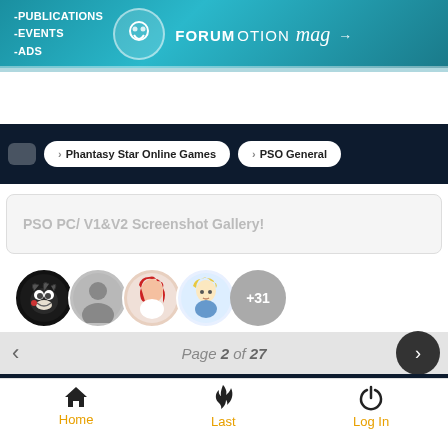[Figure (screenshot): Forumotion magazine banner advertisement with teal gradient background showing -PUBLICATIONS, -EVENTS, -ADS text and FORUMOTION mag logo with arrow]
> Phantasy Star Online Games  > PSO General
PSO PC/ V1&V2 Screenshot Gallery!
[Figure (other): Row of user avatar icons: Sonic character, gray silhouette, red-haired anime character, blonde chibi character, and +31 gray circle]
Page 2 of 27
Home  Last  Log In